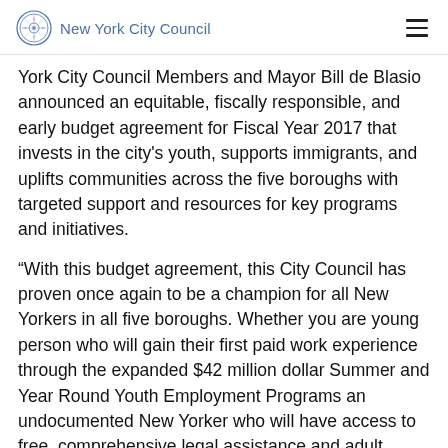New York City Council
York City Council Members and Mayor Bill de Blasio announced an equitable, fiscally responsible, and early budget agreement for Fiscal Year 2017 that invests in the city's youth, supports immigrants, and uplifts communities across the five boroughs with targeted support and resources for key programs and initiatives.
“With this budget agreement, this City Council has proven once again to be a champion for all New Yorkers in all five boroughs. Whether you are young person who will gain their first paid work experience through the expanded $42 million dollar Summer and Year Round Youth Employment Programs an undocumented New Yorker who will have access to free, comprehensive legal assistance and adult literacy services, or a struggling parent who will have an easier time putting food on the